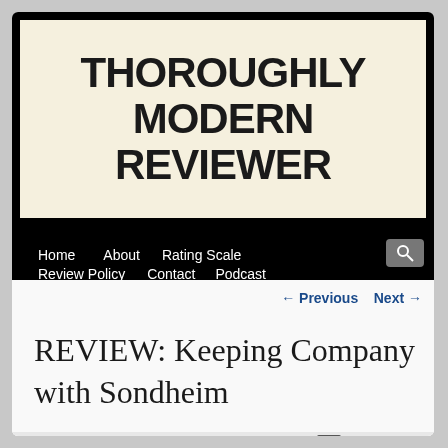THOROUGHLY MODERN REVIEWER
Home   About   Rating Scale   Review Policy   Contact   Podcast
← Previous   Next →
REVIEW: Keeping Company with Sondheim